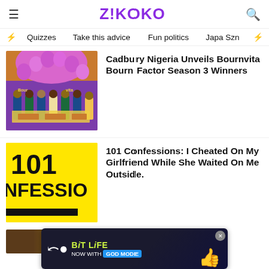ZIKOKO
Quizzes  Take this advice  Fun politics  Japa Szn
[Figure (photo): Group of people standing under a purple balloon arch at a Cadbury/Bournvita event]
Cadbury Nigeria Unveils Bournvita Bourn Factor Season 3 Winners
[Figure (illustration): Yellow card with bold black text reading 101 CONFESSIONS]
101 Confessions: I Cheated On My Girlfriend While She Waited On Me Outside.
[Figure (other): BitLife advertisement banner - NOW WITH GOD MODE]